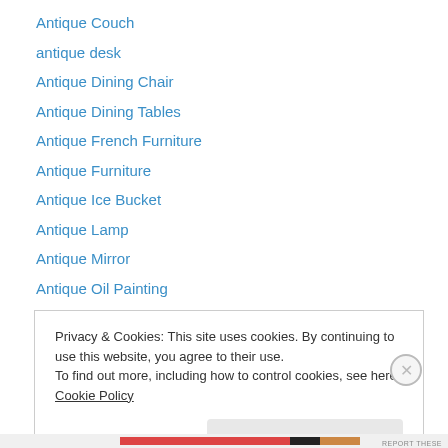Antique Couch
antique desk
Antique Dining Chair
Antique Dining Tables
Antique French Furniture
Antique Furniture
Antique Ice Bucket
Antique Lamp
Antique Mirror
Antique Oil Painting
Antique Screen
Antique Sewing Set
antique sideboard
Privacy & Cookies: This site uses cookies. By continuing to use this website, you agree to their use. To find out more, including how to control cookies, see here: Cookie Policy
Close and accept